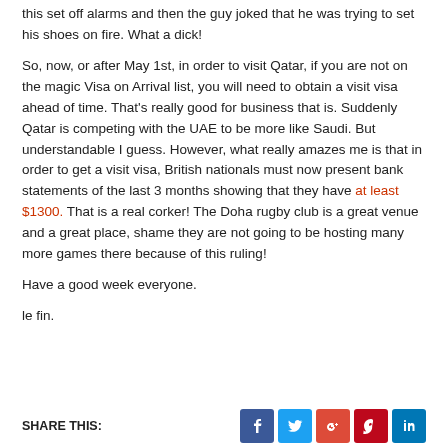this set off alarms and then the guy joked that he was trying to set his shoes on fire. What a dick!
So, now, or after May 1st, in order to visit Qatar, if you are not on the magic Visa on Arrival list, you will need to obtain a visit visa ahead of time. That's really good for business that is. Suddenly Qatar is competing with the UAE to be more like Saudi. But understandable I guess. However, what really amazes me is that in order to get a visit visa, British nationals must now present bank statements of the last 3 months showing that they have at least $1300. That is a real corker! The Doha rugby club is a great venue and a great place, shame they are not going to be hosting many more games there because of this ruling!
Have a good week everyone.
le fin.
SHARE THIS: